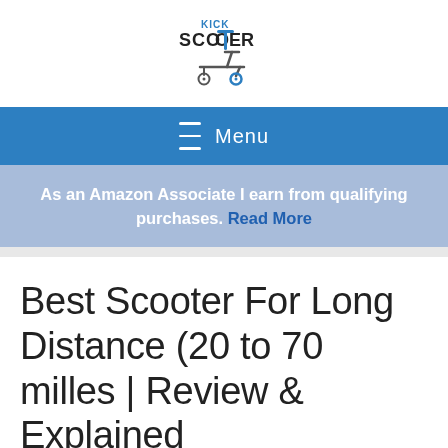[Figure (logo): Kick Scooter logo with stylized scooter graphic and text 'KICK SCOOTER']
≡ Menu
As an Amazon Associate I earn from qualifying purchases. Read More
Best Scooter For Long Distance (20 to 70 milles | Review & Explained